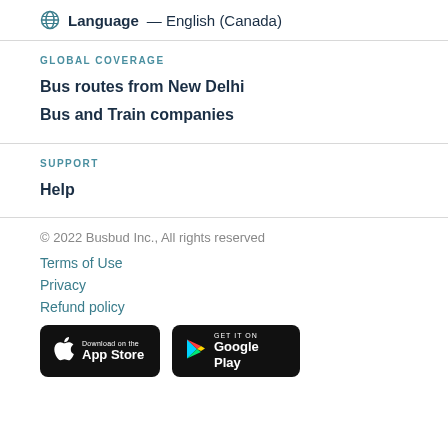Language — English (Canada)
GLOBAL COVERAGE
Bus routes from New Delhi
Bus and Train companies
SUPPORT
Help
© 2022 Busbud Inc., All rights reserved
Terms of Use
Privacy
Refund policy
[Figure (other): Download on the App Store button]
[Figure (other): Get it on Google Play button]